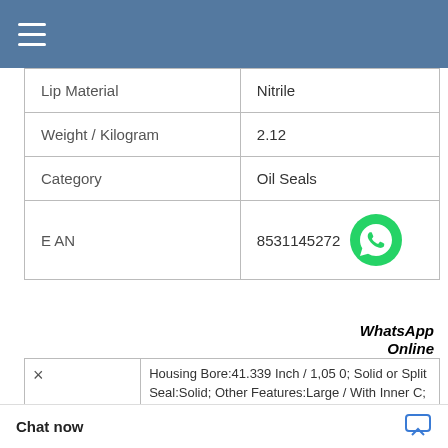Navigation menu
| Lip Material | Nitrile |
| Weight / Kilogram | 2.12 |
| Category | Oil Seals |
| EAN | 8531145272 |
WhatsApp Online
| 26748 SKF cr seal | Housing Bore:41.339 Inch / 1,050; Solid or Split Seal:Solid; Other Features:Large / With Inner C; Manufacturer Item Number:1000X1050X23 HDS2 R; Weight / LBS:22.534; Inch - Metric:Metric; UNSPSC:31411705; Weight / Kilogram:10. ring:Lip; Category: Design Code:HDS |
Chat now